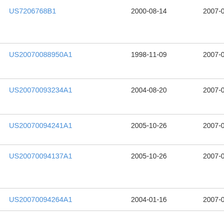| Patent Number | Filing Date | Publication Date | Assignee |
| --- | --- | --- | --- |
| US7206768B1 | 2000-08-14 | 2007-04-17 | Jpr N.A |
| US20070088950A1 | 1998-11-09 | 2007-04-19 | Firs |
| US20070093234A1 | 2004-08-20 | 2007-04-26 | Wil |
| US20070094241A1 | 2005-10-26 | 2007-04-26 | Inte Ma |
| US20070094137A1 | 2005-10-26 | 2007-04-26 | Cap Cor |
| US20070094264A1 | 2004-01-16 | 2007-04-26 | Giri |